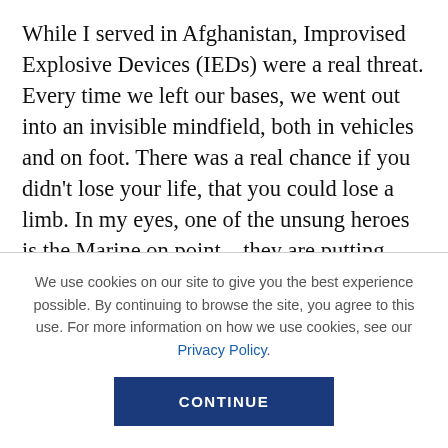While I served in Afghanistan, Improvised Explosive Devices (IEDs) were a real threat. Every time we left our bases, we went out into an invisible mindfield, both in vehicles and on foot. There was a real chance if you didn't lose your life, that you could lose a limb. In my eyes, one of the unsung heroes is the Marine on point—they are putting themselves in harms way, every single time. Many Marine's don't get the credit for their heroic actions, because it's just part of the job, but they
We use cookies on our site to give you the best experience possible. By continuing to browse the site, you agree to this use. For more information on how we use cookies, see our Privacy Policy.
CONTINUE